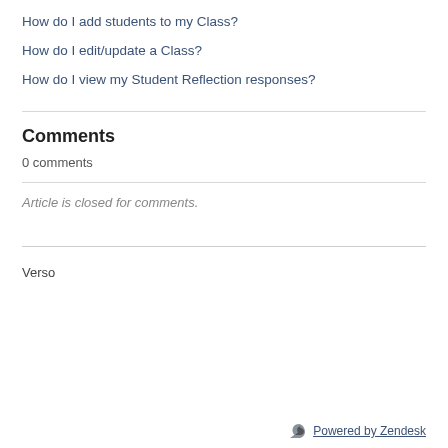How do I add students to my Class?
How do I edit/update a Class?
How do I view my Student Reflection responses?
Comments
0 comments
Article is closed for comments.
Verso
Powered by Zendesk